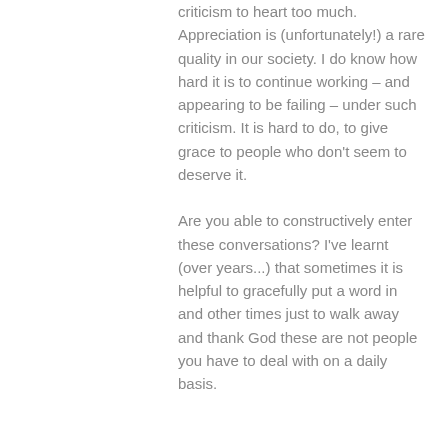criticism to heart too much. Appreciation is (unfortunately!) a rare quality in our society. I do know how hard it is to continue working – and appearing to be failing – under such criticism. It is hard to do, to give grace to people who don't seem to deserve it.

Are you able to constructively enter these conversations? I've learnt (over years...) that sometimes it is helpful to gracefully put a word in and other times just to walk away and thank God these are not people you have to deal with on a daily basis.